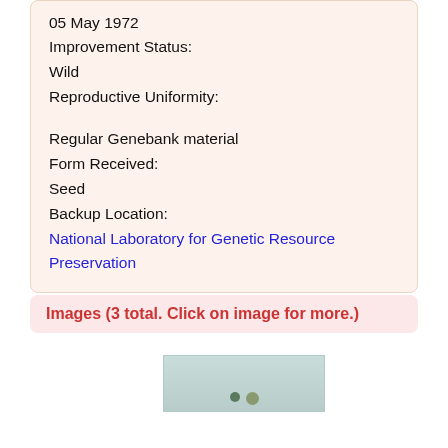05 May 1972
Improvement Status:
Wild
Reproductive Uniformity:
Regular Genebank material
Form Received:
Seed
Backup Location:
National Laboratory for Genetic Resource Preservation
Images (3 total. Click on image for more.)
[Figure (photo): A small plant/seed specimen photograph with green/teal background]